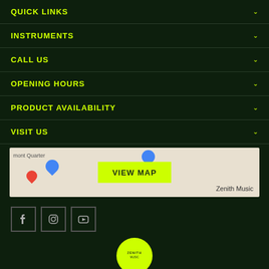QUICK LINKS
INSTRUMENTS
CALL US
OPENING HOURS
PRODUCT AVAILABILITY
VISIT US
[Figure (map): Google Maps embed showing Zenith Music location with blue and red pins, 'mont Quarter' label visible, with yellow VIEW MAP button overlay]
[Figure (infographic): Social media icons: Facebook, Instagram, YouTube in square icon boxes]
[Figure (logo): Zenith Music circular logo, yellow/green with dark text, partially visible at bottom]